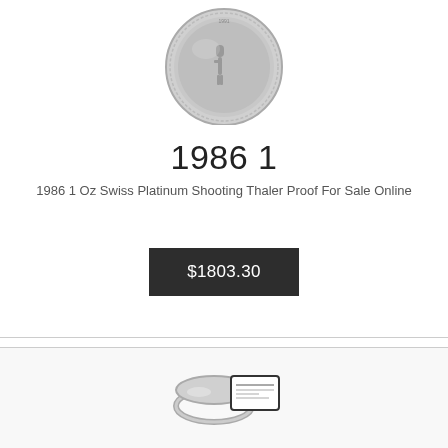[Figure (photo): Silver/platinum coin showing a figure, with text around the rim]
1986 1
1986 1 Oz Swiss Platinum Shooting Thaler Proof For Sale Online
$1803.30
[Figure (photo): Ring or jewelry item with a small screen/display element]